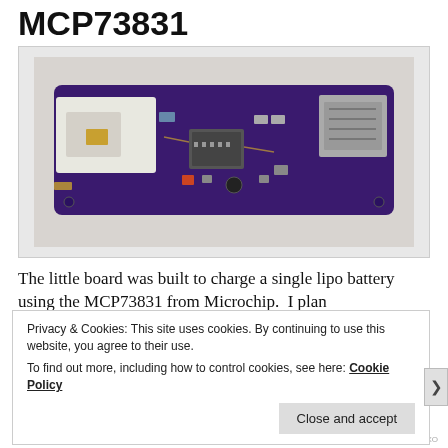MCP73831
[Figure (photo): Photo of a small purple PCB circuit board with a white JST connector on the left, a mini USB connector on the right, and a MCP73831 lithium battery charger IC in the center, along with various SMD components.]
The little board was built to charge a single lipo battery using the MCP73831 from Microchip. I plan
Privacy & Cookies: This site uses cookies. By continuing to use this website, you agree to their use.
To find out more, including how to control cookies, see here: Cookie Policy
Close and accept